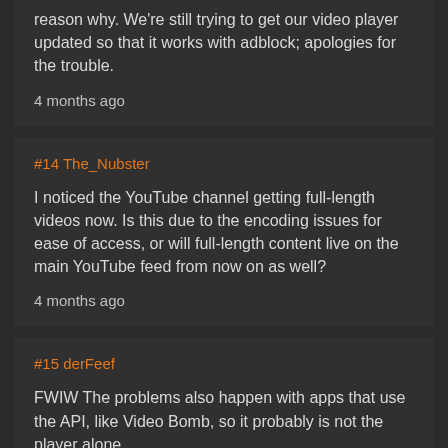reason why. We're still trying to get our video player updated so that it works with adblock; apologies for the trouble.
4 months ago
#14 The_Nubster
I noticed the YouTube channel getting full-length videos now. Is this due to the encoding issues for ease of access, or will full-length content live on the main YouTube feed from now on as well?
4 months ago
#15 derFeef
FWIW The problems also happen with apps that use the API, like Video Bomb, so it probably is not the player alone.
4 months ago